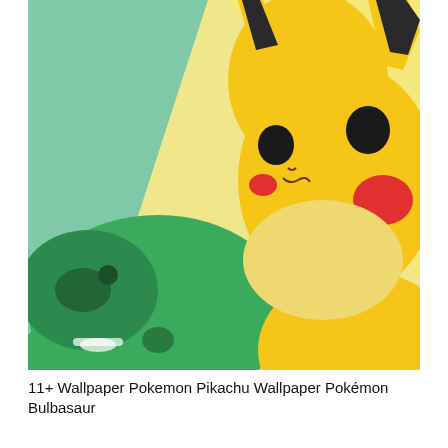[Figure (illustration): Minimalist flat illustration of Pikachu (yellow, with black eyes and red cheeks) in the upper right area, and Bulbasaur (green body with darker green spots and a dark green bulb) in the lower left area, set against a mint green background with a pale yellow triangular region behind Pikachu. The characters are partially cropped.]
11+ Wallpaper Pokemon Pikachu Wallpaper Pokémon Bulbasaur